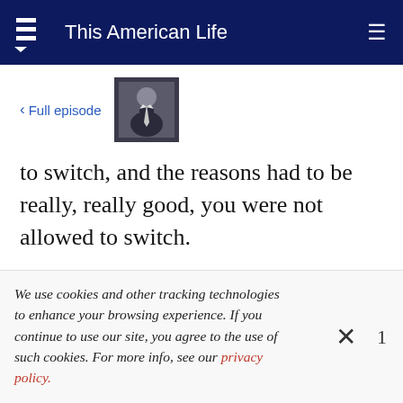This American Life
< Full episode
[Figure (photo): Thumbnail image of a man in a suit]
to switch, and the reasons had to be really, really good, you were not allowed to switch.
Basically it was a law that stopped you from freely choosing who you wanted to do business with
We use cookies and other tracking technologies to enhance your browsing experience. If you continue to use our site, you agree to the use of such cookies. For more info, see our privacy policy.